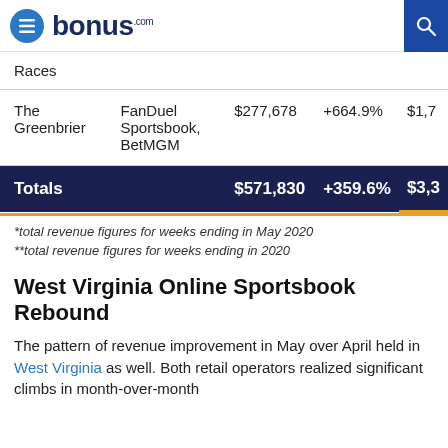bonus.com
|  |  |  |  |  |
| --- | --- | --- | --- | --- |
| Races |  |  |  |  |
| The Greenbrier | FanDuel Sportsbook, BetMGM | $277,678 | +664.9% | $1,7 |
| Totals |  | $571,830 | +359.6% | $3,3 |
*total revenue figures for weeks ending in May 2020
**total revenue figures for weeks ending in 2020
West Virginia Online Sportsbook Rebound
The pattern of revenue improvement in May over April held in West Virginia as well. Both retail operators realized significant climbs in month-over-month